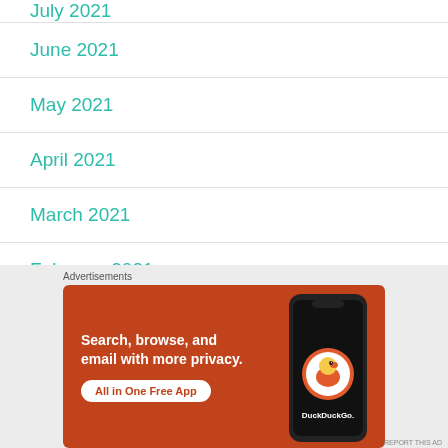July 2021
June 2021
May 2021
April 2021
March 2021
February 2021
[Figure (screenshot): DuckDuckGo advertisement banner: orange background with text 'Search, browse, and email with more privacy. All in One Free App' and an image of a smartphone with the DuckDuckGo logo.]